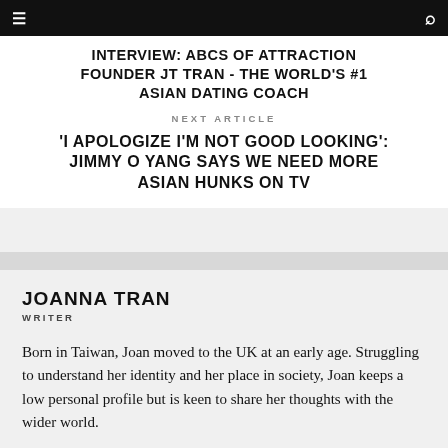INTERVIEW: ABCS OF ATTRACTION FOUNDER JT TRAN - THE WORLD'S #1 ASIAN DATING COACH
NEXT ARTICLE
'I APOLOGIZE I'M NOT GOOD LOOKING': JIMMY O YANG SAYS WE NEED MORE ASIAN HUNKS ON TV
JOANNA TRAN
WRITER
Born in Taiwan, Joan moved to the UK at an early age. Struggling to understand her identity and her place in society, Joan keeps a low personal profile but is keen to share her thoughts with the wider world.